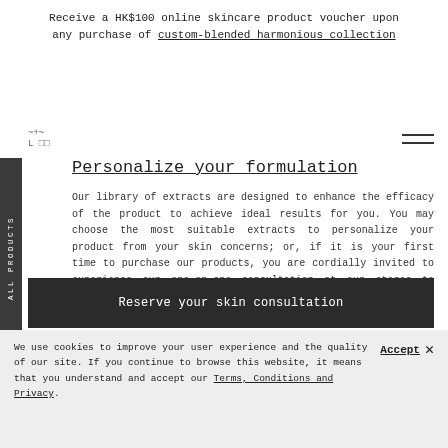Receive a HK$100 online skincare product voucher upon any purchase of custom-blended harmonious collection
Personalize your formulation
Our library of extracts are designed to enhance the efficacy of the product to achieve ideal results for you. You may choose the most suitable extracts to personalize your product from your skin concerns; or, if it is your first time to purchase our products, you are cordially invited to experience our one-on-one consultation at our stores to identify what your skin needs.
Reserve your skin consultation
We use cookies to improve your user experience and the quality of our site. If you continue to browse this website, it means that you understand and accept our Terms, Conditions and Privacy.